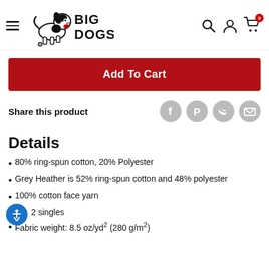BIG DOGS (navigation header with logo, search, account, and cart icons)
Add To Cart
Share this product
Details
80% ring-spun cotton, 20% Polyester
Grey Heather is 52% ring-spun cotton and 48% polyester
100% cotton face yarn
2 singles
Fabric weight: 8.5 oz/yd² (280 g/m²)